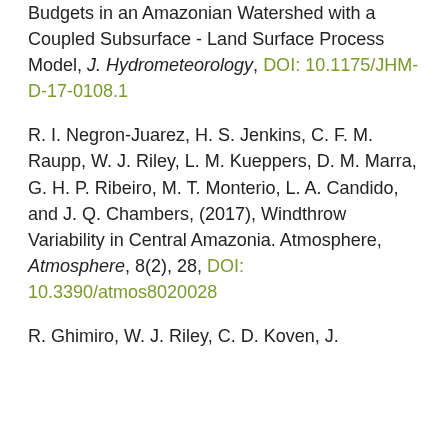Budgets in an Amazonian Watershed with a Coupled Subsurface - Land Surface Process Model, J. Hydrometeorology, DOI: 10.1175/JHM-D-17-0108.1
R. I. Negron-Juarez, H. S. Jenkins, C. F. M. Raupp, W. J. Riley, L. M. Kueppers, D. M. Marra, G. H. P. Ribeiro, M. T. Monterio, L. A. Candido, and J. Q. Chambers, (2017), Windthrow Variability in Central Amazonia. Atmosphere, Atmosphere, 8(2), 28, DOI: 10.3390/atmos8020028
R. Ghimiro, W. J. Riley, C. D. Koven, J.